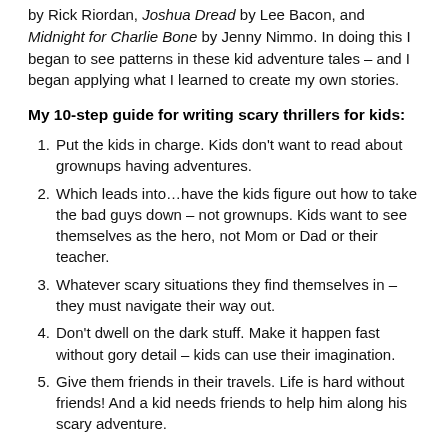by Rick Riordan, Joshua Dread by Lee Bacon, and Midnight for Charlie Bone by Jenny Nimmo. In doing this I began to see patterns in these kid adventure tales – and I began applying what I learned to create my own stories.
My 10-step guide for writing scary thrillers for kids:
Put the kids in charge. Kids don't want to read about grownups having adventures.
Which leads into…have the kids figure out how to take the bad guys down – not grownups. Kids want to see themselves as the hero, not Mom or Dad or their teacher.
Whatever scary situations they find themselves in – they must navigate their way out.
Don't dwell on the dark stuff. Make it happen fast without gory detail – kids can use their imagination.
Give them friends in their travels. Life is hard without friends! And a kid needs friends to help him along his scary adventure.